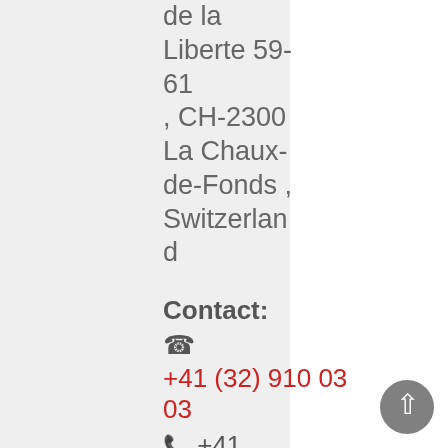de la Liberte 59-61 , CH-2300 La Chaux-de-Fonds , Switzerland
Contact:
☎ +41 (32) 910 03 03
📠 +41 (32) 910 03 13
🌐 http://www.smtrichanbach.com